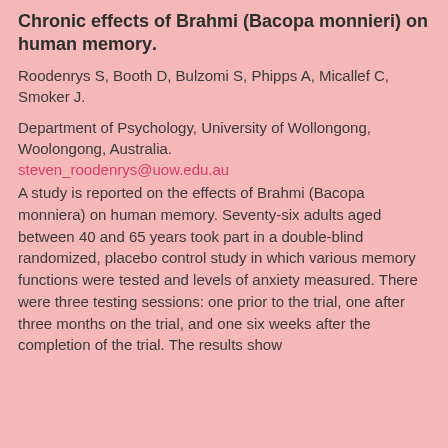Chronic effects of Brahmi (Bacopa monnieri) on human memory.
Roodenrys S, Booth D, Bulzomi S, Phipps A, Micallef C, Smoker J.
Department of Psychology, University of Wollongong, Woolongong, Australia.
steven_roodenrys@uow.edu.au
A study is reported on the effects of Brahmi (Bacopa monniera) on human memory. Seventy-six adults aged between 40 and 65 years took part in a double-blind randomized, placebo control study in which various memory functions were tested and levels of anxiety measured. There were three testing sessions: one prior to the trial, one after three months on the trial, and one six weeks after the completion of the trial. The results show